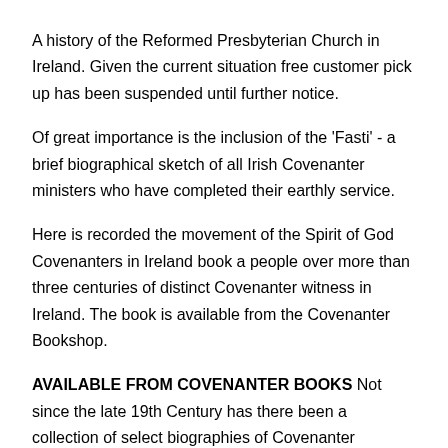A history of the Reformed Presbyterian Church in Ireland. Given the current situation free customer pick up has been suspended until further notice.
Of great importance is the inclusion of the 'Fasti' - a brief biographical sketch of all Irish Covenanter ministers who have completed their earthly service.
Here is recorded the movement of the Spirit of God Covenanters in Ireland book a people over more than three centuries of distinct Covenanter witness in Ireland. The book is available from the Covenanter Bookshop.
AVAILABLE FROM COVENANTER BOOKS Not since the late 19th Century has there been a collection of select biographies of Covenanter ministers of the Irish Reformed Presbyterian Church. This definitive volume has been written by 21st Century Covenanters, who have a special interest in the lives Covenanters in Ireland book these notable men.